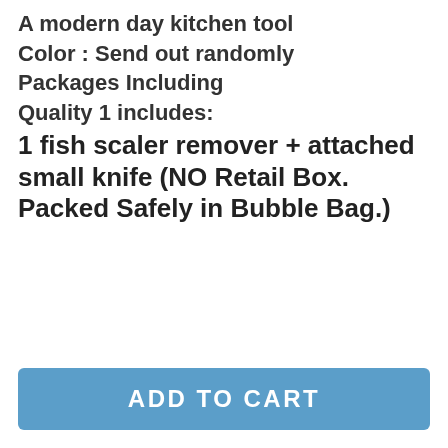A modern day kitchen tool
Color : Send out randomly
Packages Including
Quality 1 includes:
1 fish scaler remover + attached small knife (NO Retail Box. Packed Safely in Bubble Bag.)
[Figure (photo): Kitchen Accessories Stainless Steel Scales Skinner Kitchen To Scale Kitchen Goods Vegetable Cutter Kitchen Tools Gadgets.q (image placeholder)]
[Figure (photo): Kitchen Accessories Stainless Steel Scales Skinner Kitchen To Scale Kitchen Goods Vegetable Cutter Kitchen Tools Gadgets.q (image placeholder)]
[Figure (photo): Kitchen Accessories Stainless Steel Scales Skinner Kitchen (image placeholder, partially visible)]
ADD TO CART